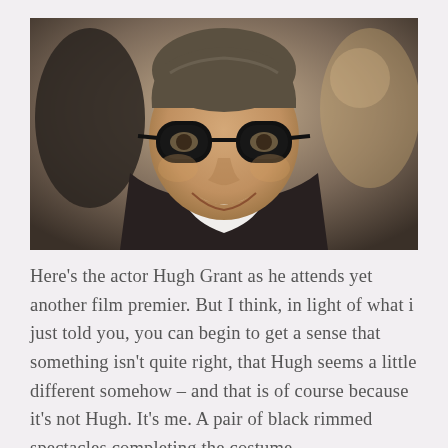[Figure (photo): A smiling man wearing large black-rimmed glasses and a dark suit jacket with an open white shirt collar, photographed at what appears to be a film premiere event with blurred background figures.]
Here's the actor Hugh Grant as he attends yet another film premier. But I think, in light of what i just told you, you can begin to get a sense that something isn't quite right, that Hugh seems a little different somehow – and that is of course because it's not Hugh. It's me. A pair of black rimmed spectacles completing the costume.